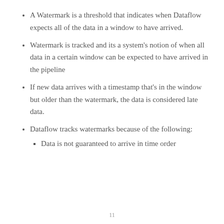A Watermark is a threshold that indicates when Dataflow expects all of the data in a window to have arrived.
Watermark is tracked and its a system's notion of when all data in a certain window can be expected to have arrived in the pipeline
If new data arrives with a timestamp that's in the window but older than the watermark, the data is considered late data.
Dataflow tracks watermarks because of the following:
Data is not guaranteed to arrive in time order
11